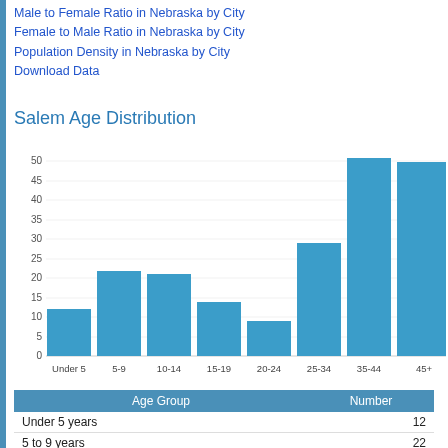Male to Female Ratio in Nebraska by City
Female to Male Ratio in Nebraska by City
Population Density in Nebraska by City
Download Data
Salem Age Distribution
[Figure (bar-chart): Salem Age Distribution]
| Age Group | Number |
| --- | --- |
| Under 5 years | 12 |
| 5 to 9 years | 22 |